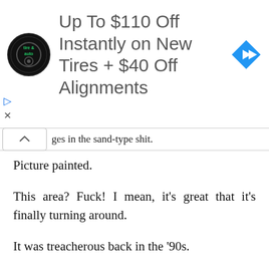[Figure (screenshot): Advertisement banner for Firestone tire & auto. Text reads 'Up To $110 Off Instantly on New Tires + $40 Off Alignments' with a tire & auto logo on left and a blue diamond navigation arrow icon on right.]
ges in the sand-type shit.
Picture painted.
This area? Fuck! I mean, it’s great that it’s finally turning around.
It was treacherous back in the ’90s.
This area’s always been nice. I grew up here.
It’s— No, I—